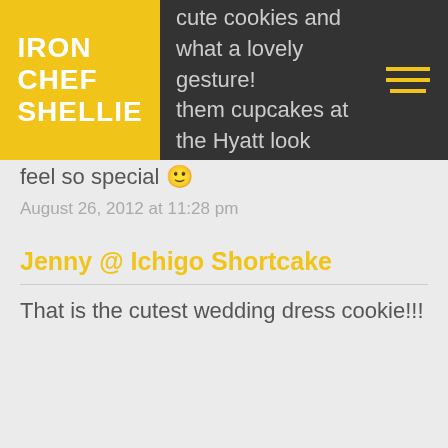IRON CHEF SHELLIE
cute cookies and what a lovely gesture! them cupcakes at the Hyatt look amazing.
August 26, 2012 at 10:46 pm
Catherine
Amazing!! So much effort put in, she must feel so special 🙂
August 26, 2012 at 11:28 pm
Jenny @ Ichigo Shortcake
That is the cutest wedding dress cookie!!!